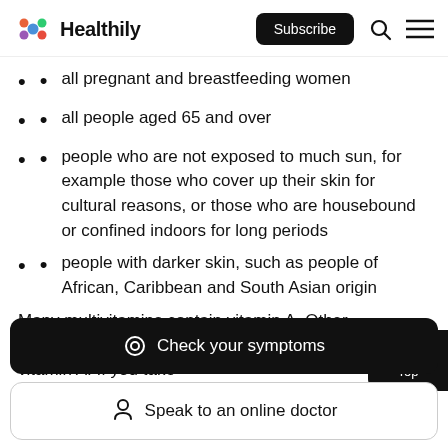Healthily — Subscribe
all pregnant and breastfeeding women
all people aged 65 and over
people who are not exposed to much sun, for example those who cover up their skin for cultural reasons, or those who are housebound or confined indoors for long periods
people with darker skin, such as people of African, Caribbean and South Asian origin
Many multivitamins contain vitamin A. Other supplements, such as fish liver oil, are also high in vitamin A. If you take
Check your symptoms
Speak to an online doctor